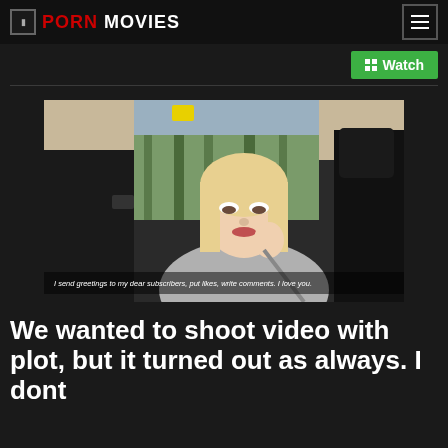PORN MOVIES
[Figure (screenshot): Video thumbnail showing a young blonde woman sitting in a car passenger seat, posing with hand gesture. Subtitle reads: I send greetings to my dear subscribers, put likes, write comments. I love you.]
We wanted to shoot video with plot, but it turned out as always. I dont